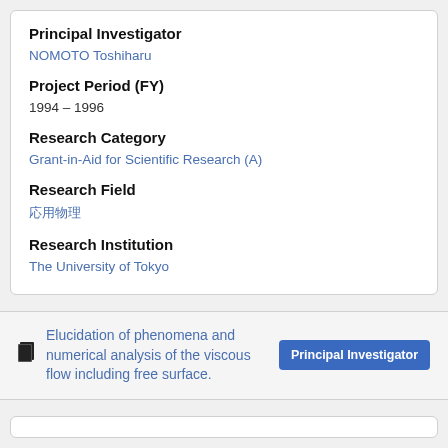Principal Investigator
NOMOTO Toshiharu
Project Period (FY)
1994 – 1996
Research Category
Grant-in-Aid for Scientific Research (A)
Research Field
応用物理
Research Institution
The University of Tokyo
Elucidation of phenomena and numerical analysis of the viscous flow including free surface.
Principal Investigator